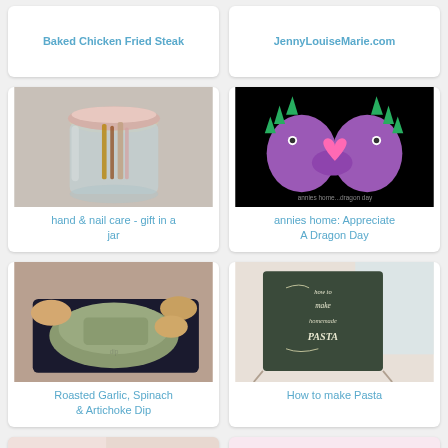Baked Chicken Fried Steak
JennyLouiseMarie.com
[Figure (photo): A glass jar containing makeup brushes and beauty tools with a decorative lid]
hand & nail care - gift in a jar
[Figure (illustration): Two purple cartoon dinosaurs holding a pink heart together on a black background]
annies home: Appreciate A Dragon Day
[Figure (photo): A bowl of roasted garlic spinach and artichoke dip with bread on a dark tray]
Roasted Garlic, Spinach & Artichoke Dip
[Figure (photo): A chalkboard sign reading 'how to make homemade pasta' on a white surface]
How to make Pasta
[Figure (photo): Partial view of an image with cursive text reading 'things you']
[Figure (photo): Partial view of a pink dessert image]